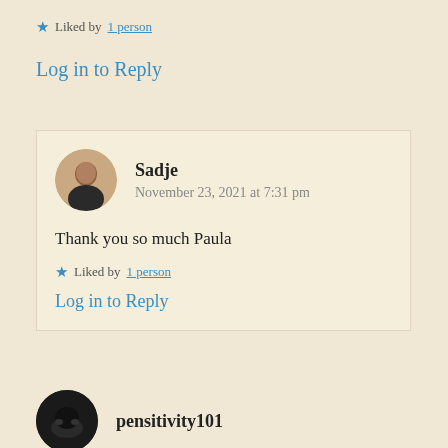★ Liked by 1 person
Log in to Reply
Sadje
November 23, 2021 at 7:31 pm
Thank you so much Paula
★ Liked by 1 person
Log in to Reply
pensitivity101